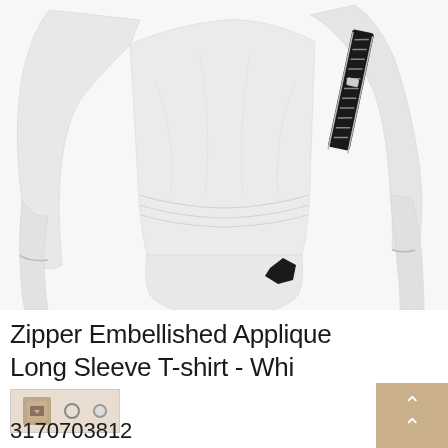[Figure (photo): White long-sleeve t-shirt with zipper embellishment on the upper arm sleeve and a black applique patch near the hem. The shirt is shown from the torso down, with no head visible. Clean white background.]
Zipper Embellished Applique Long Sleeve T-shirt - White
3170703812